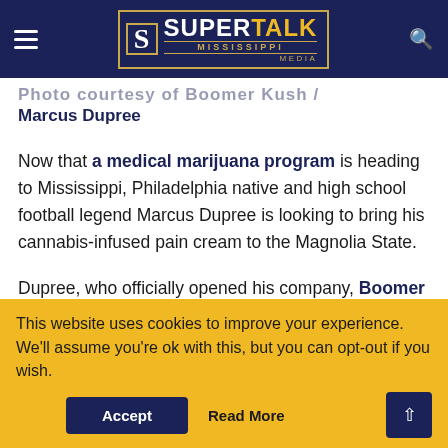SuperTalk Mississippi Media
Photo courtesy of Boomer Kush / Marcus Dupree
Now that a medical marijuana program is heading to Mississippi, Philadelphia native and high school football legend Marcus Dupree is looking to bring his cannabis-infused pain cream to the Magnolia State.
Dupree, who officially opened his company, Boomer Kush, back in April, has recently introduced a topical cream, infused with both CBD and THC, focused on quickly reducing inflammation and pain. According to the former University of Oklahoma and Los...
This website uses cookies to improve your experience. We'll assume you're ok with this, but you can opt-out if you wish.